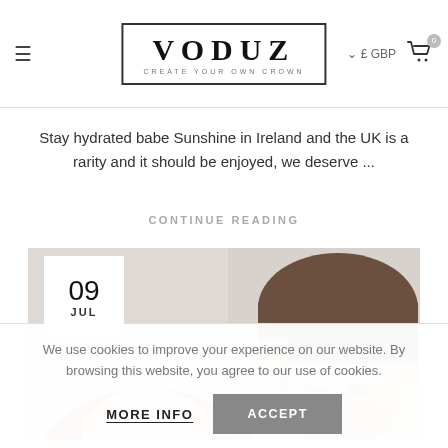VODUZ — CREATE YOUR OWN CROWN | £ GBP | Cart 0
Stay hydrated babe Sunshine in Ireland and the UK is a rarity and it should be enjoyed, we deserve ...
CONTINUE READING
[Figure (photo): Blog post image card dated 09 JUL showing two people — a woman with red/auburn hair on the left and a man with short brown hair on the right, both cropped at head level against a light background]
We use cookies to improve your experience on our website. By browsing this website, you agree to our use of cookies.
MORE INFO   ACCEPT